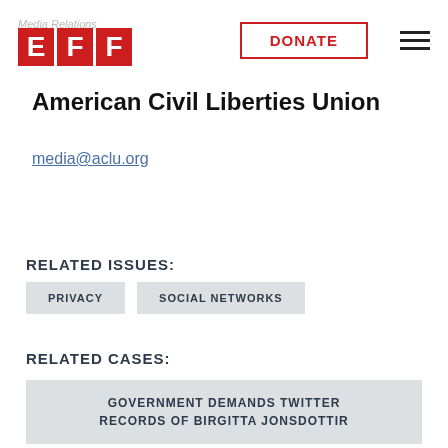Media Relations EFF DONATE
American Civil Liberties Union
media@aclu.org
RELATED ISSUES:
PRIVACY
SOCIAL NETWORKS
RELATED CASES:
GOVERNMENT DEMANDS TWITTER RECORDS OF BIRGITTA JONSDOTTIR